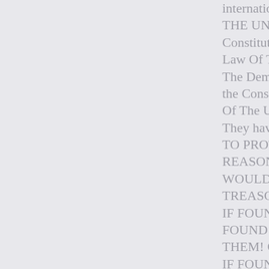international Law do THE UNITED STATES Constitution Of The U Law Of The Land! The Dems are doing t the Constitution Of The United States! They have sharn TO PROTECT AND D REASON ALONE, IF WOULD BE PUT ON TREASON! IF FOUND NOT GUIL FOUND GUILTY AS C THEM! ONE APPEAL IF FOUND NOT GUIL FOUND GUILTY AGA STOOD UP AGAINST SHOT IMMEDATELY! Enough Said! Semper Fidelis,